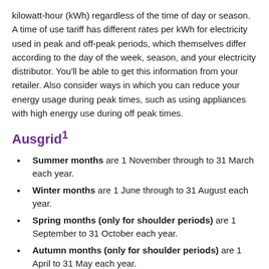kilowatt-hour (kWh) regardless of the time of day or season. A time of use tariff has different rates per kWh for electricity used in peak and off-peak periods, which themselves differ according to the day of the week, season, and your electricity distributor. You'll be able to get this information from your retailer. Also consider ways in which you can reduce your energy usage during peak times, such as using appliances with high energy use during off peak times.
Ausgrid¹
Summer months are 1 November through to 31 March each year.
Winter months are 1 June through to 31 August each year.
Spring months (only for shoulder periods) are 1 September to 31 October each year.
Autumn months (only for shoulder periods) are 1 April to 31 May each year.